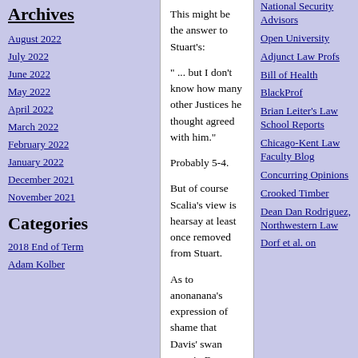Archives
August 2022
July 2022
June 2022
May 2022
April 2022
March 2022
February 2022
January 2022
December 2021
November 2021
Categories
2018 End of Term
Adam Kolber
This might be the answer to Stuart's:
" ... but I don't know how many other Justices he thought agreed with him."
Probably 5-4.
But of course Scalia's view is hearsay at least once removed from Stuart.
As to anonanana's expression of shame that Davis' swan song in Brown was not recorded, was Thurgood Marshall's "victorious song" recorded? If not, that would really, really be a shame.
Posted by: Shag from Brookline | May 6, 2011 9:49:52 AM
Back in 2001-02, Scalia told a friend of mine that he and other Justices thought Roberts was far and away the best oral advocate, without even a close second. So I know that Scalia thought that, but I don't know how many other Justices he thought agreed with him.
National Security Advisors
Open University
Adjunct Law Profs
Bill of Health
BlackProf
Brian Leiter's Law School Reports
Chicago-Kent Law Faculty Blog
Concurring Opinions
Crooked Timber
Dean Dan Rodriguez, Northwestern Law
Dorf et al. on